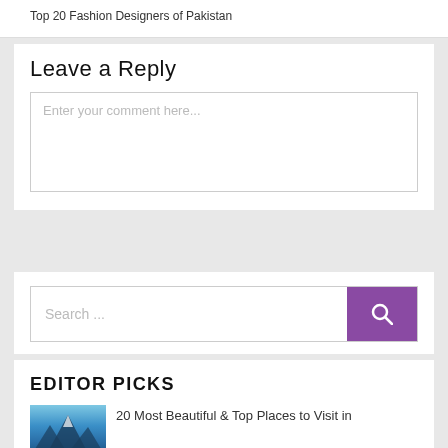Top 20 Fashion Designers of Pakistan
Leave a Reply
Enter your comment here...
Search ...
EDITOR PICKS
20 Most Beautiful & Top Places to Visit in